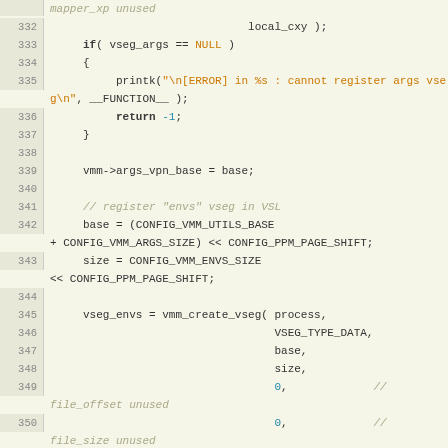[Figure (screenshot): Source code listing in C showing lines 332-356 of a kernel/VMM function, with line numbers on the left, code on the right, featuring syntax highlighting (orange for strings/NULL, bold for keywords, italic gray for comments), on a light yellow-green background.]